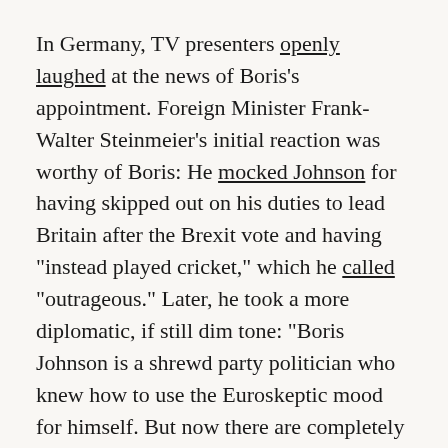In Germany, TV presenters openly laughed at the news of Boris's appointment. Foreign Minister Frank-Walter Steinmeier's initial reaction was worthy of Boris: He mocked Johnson for having skipped out on his duties to lead Britain after the Brexit vote and having "instead played cricket," which he called "outrageous." Later, he took a more diplomatic, if still dim tone: "Boris Johnson is a shrewd party politician who knew how to use the Euroskeptic mood for himself. But now there are completely different political tasks in the foreground."
Former Swedish Prime Minister and Foreign Minister Carl Bildt went to the photo archive to